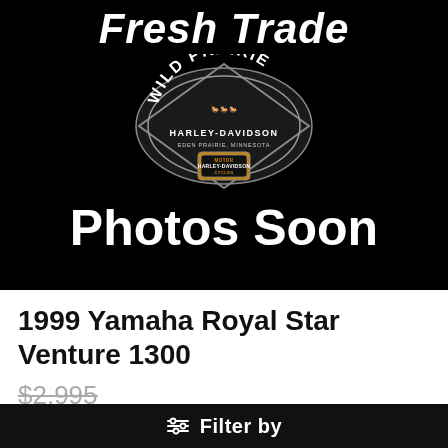[Figure (photo): Black background placeholder image with Wild Prairie Harley-Davidson logo (Eden Prairie, Minnesota), horses illustration, text reading 'Fresh Trade' at top and 'Photos Soon' below the logo.]
1999 Yamaha Royal Star Venture 1300
$2,995 (strikethrough original price)
$1,999
Filter by